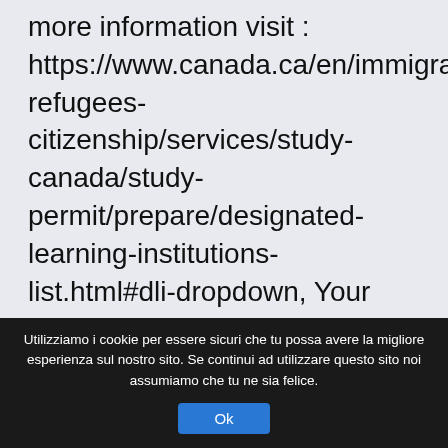more information visit : https://www.canada.ca/en/immigration-refugees-citizenship/services/study-canada/study-permit/prepare/designated-learning-institutions-list.html#dli-dropdown, Your email address will not be published. Find out requirements, rules, documentation, and process SDS Canada, SDS Canada India. Search for designated learning institutions with PGWP-eligible programs. Nova Scotia. For more information visit : Government of Canada website – List of approved DLIs. Contact the
Utilizziamo i cookie per essere sicuri che tu possa avere la migliore esperienza sul nostro sito. Se continui ad utilizzare questo sito noi assumiamo che tu ne sia felice.